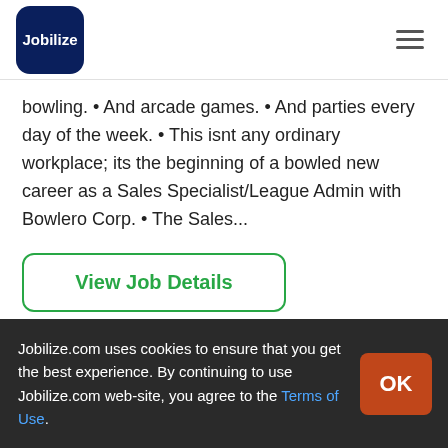Jobilize
bowling. • And arcade games. • And parties every day of the week. • This isnt any ordinary workplace; its the beginning of a bowled new career as a Sales Specialist/League Admin with Bowlero Corp. • The Sales...
View Job Details
Jobilize.com uses cookies to ensure that you get the best experience. By continuing to use Jobilize.com web-site, you agree to the Terms of Use.